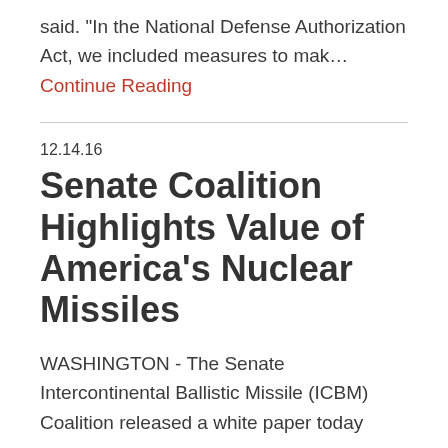said. "In the National Defense Authorization Act, we included measures to mak… Continue Reading
12.14.16
Senate Coalition Highlights Value of America's Nuclear Missiles
WASHINGTON - The Senate Intercontinental Ballistic Missile (ICBM) Coalition released a white paper today